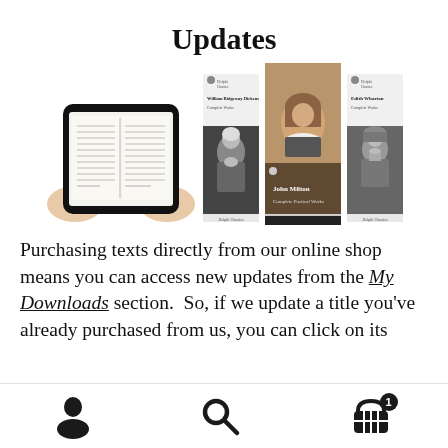Updates
[Figure (illustration): A tablet device being held showing an open book, alongside three book covers: William Ridgeway Dickens Complete Works, John Milton Complete Poetical Works (featured, color), and Edith Wharton Complete Works]
Purchasing texts directly from our online shop means you can access new updates from the My Downloads section.  So, if we update a title you’ve already purchased from us, you can click on its
[Figure (infographic): Bottom navigation bar with user/profile icon, search/magnifying glass icon, and shopping basket icon with badge showing '1']